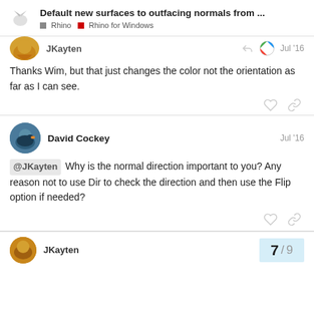Default new surfaces to outfacing normals from ... | Rhino | Rhino for Windows
JKayten Jul '16
Thanks Wim, but that just changes the color not the orientation as far as I can see.
David Cockey Jul '16
@JKayten Why is the normal direction important to you? Any reason not to use Dir to check the direction and then use the Flip option if needed?
JKayten 7 / 9